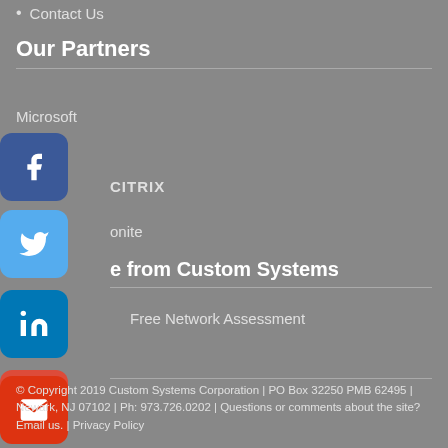Contact Us
Our Partners
Microsoft
[Figure (logo): Facebook social media button - blue rounded square with white 'f' icon]
CITRIX
[Figure (logo): Twitter social media button - light blue rounded square with white bird icon]
onite
[Figure (logo): LinkedIn social media button - dark blue rounded square with white 'in' icon]
e from Custom Systems
[Figure (logo): Google+ social media button - red rounded square with white G+ icon]
Free Network Assessment
[Figure (logo): Email button - red rounded square with white envelope icon]
© Copyright 2019 Custom Systems Corporation | PO Box 32250 PMB 62495 | Newark, NJ 07102 | Ph: 973.726.0202 | Questions or comments about the site? Email us. | Privacy Policy